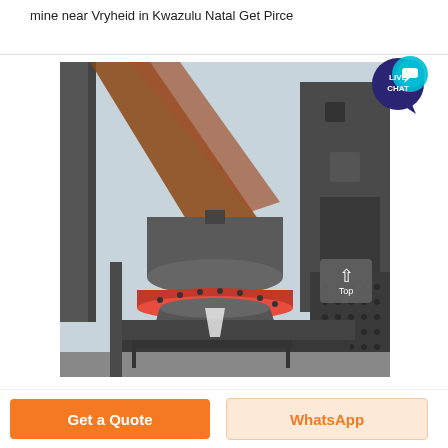mine near Vryheid in Kwazulu Natal Get Pirce
[Figure (photo): Industrial mining equipment (cone crusher or VSI crusher) photographed at an outdoor mining facility near Vryheid in Kwazulu Natal. The machine is grey with a red ring component, mounted on a metal frame, with heavy industrial structures and overcast sky in the background. A 'LIVE CHAT' badge appears in the top-right corner of the image, and a 'Top' scroll button appears at the bottom-right.]
Get a Quote
WhatsApp